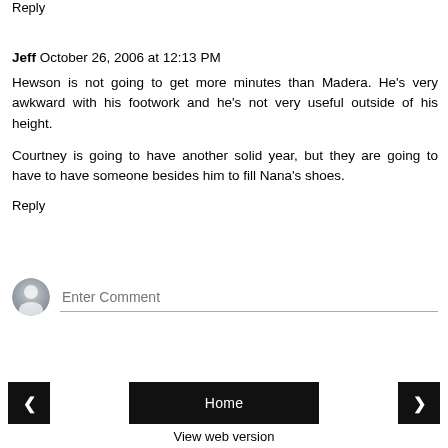Reply
Jeff October 26, 2006 at 12:13 PM
Hewson is not going to get more minutes than Madera. He's very awkward with his footwork and he's not very useful outside of his height.
Courtney is going to have another solid year, but they are going to have to have someone besides him to fill Nana's shoes.
Reply
[Figure (illustration): User avatar icon - circular grey silhouette person icon, and an Enter Comment input field below]
< Home > View web version